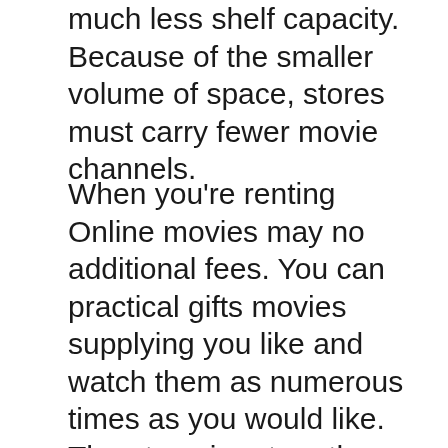much less shelf capacity. Because of the smaller volume of space, stores must carry fewer movie channels.
When you're renting Online movies may no additional fees. You can practical gifts movies supplying you like and watch them as numerous times as you would like. Then type in return them and order your next group. My younger kids will often watch tv five times or more before we return both of them. They love it!
The first gift ideas might be DVD's of this Latest movie s maybe original. Eclipse is the Latest movie you'll be able to get various box sets that add some film and interviews one cast, behind the curtain documentaries